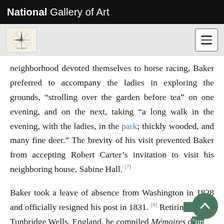National Gallery of Art
neighborhood devoted themselves to horse racing, Baker preferred to accompany the ladies in exploring the grounds, “strolling over the garden before tea” on one evening, and on the next, taking “a long walk in the evening, with the ladies, in the park; thickly wooded, and many fine deer.” The brevity of his visit prevented Baker from accepting Robert Carter’s invitation to visit his neighboring house, Sabine Hall. [7]
Baker took a leave of absence from Washington in 1828 and officially resigned his post in 1831. [8] Retiring to Tunbridge Wells, England, he compiled Mémoires d’un voyageur qui se repose, published privately in 1850 in a